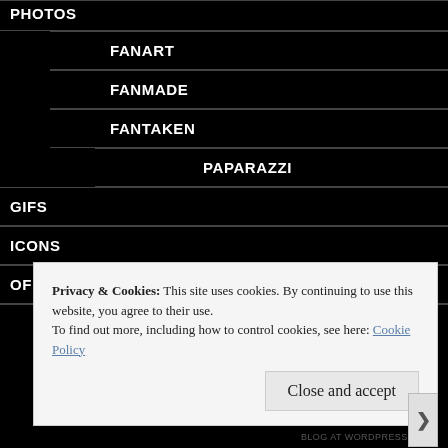PHOTOS
FANART
FANMADE
FANTAKEN
PAPARAZZI
GIFS
ICONS
OFFICIAL
Privacy & Cookies: This site uses cookies. By continuing to use this website, you agree to their use.
To find out more, including how to control cookies, see here: Cookie Policy
Close and accept